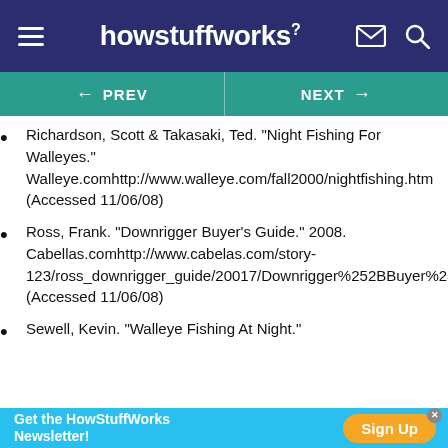howstuffworks
Richardson, Scott & Takasaki, Ted. "Night Fishing For Walleyes." Walleye.comhttp://www.walleye.com/fall2000/nightfishing.htm (Accessed 11/06/08)
Ross, Frank. "Downrigger Buyer's Guide." 2008. Cabellas.comhttp://www.cabelas.com/story-123/ross_downrigger_guide/20017/Downrigger%2522BBuyer%2527s%2522BGuide.shtml (Accessed 11/06/08)
Sewell, Kevin. "Walleye Fishing At Night."